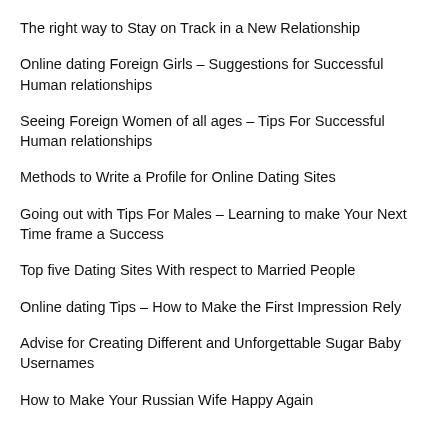The right way to Stay on Track in a New Relationship
Online dating Foreign Girls – Suggestions for Successful Human relationships
Seeing Foreign Women of all ages – Tips For Successful Human relationships
Methods to Write a Profile for Online Dating Sites
Going out with Tips For Males – Learning to make Your Next Time frame a Success
Top five Dating Sites With respect to Married People
Online dating Tips – How to Make the First Impression Rely
Advise for Creating Different and Unforgettable Sugar Baby Usernames
How to Make Your Russian Wife Happy Again